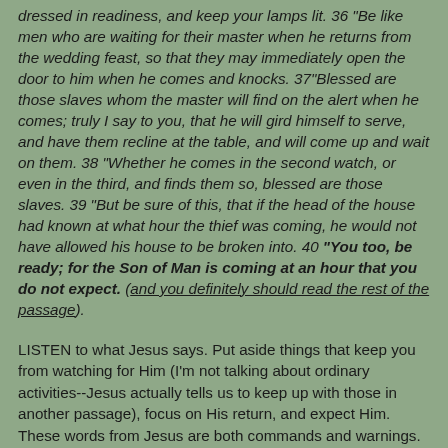dressed in readiness, and keep your lamps lit. 36 "Be like men who are waiting for their master when he returns from the wedding feast, so that they may immediately open the door to him when he comes and knocks. 37"Blessed are those slaves whom the master will find on the alert when he comes; truly I say to you, that he will gird himself to serve, and have them recline at the table, and will come up and wait on them. 38 "Whether he comes in the second watch, or even in the third, and finds them so, blessed are those slaves. 39 "But be sure of this, that if the head of the house had known at what hour the thief was coming, he would not have allowed his house to be broken into. 40 "You too, be ready; for the Son of Man is coming at an hour that you do not expect. (and you definitely should read the rest of the passage).
LISTEN to what Jesus says. Put aside things that keep you from watching for Him (I'm not talking about ordinary activities--Jesus actually tells us to keep up with those in another passage), focus on His return, and expect Him. These words from Jesus are both commands and warnings.